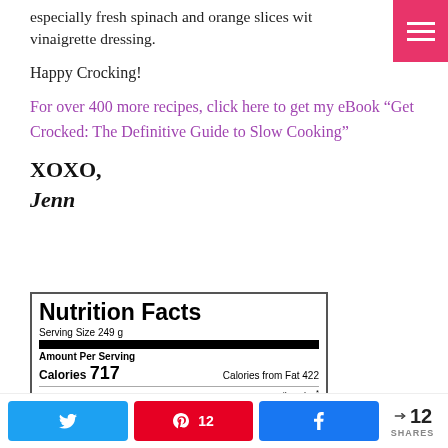especially fresh spinach and orange slices with vinaigrette dressing.
Happy Crocking!
For over 400 more recipes, click here to get my eBook “Get Crocked: The Definitive Guide to Slow Cooking”
XOXO,
Jenn
[Figure (other): Nutrition Facts label showing Serving Size 249g, Calories 717, Calories from Fat 422, % Daily Value partially visible]
Twitter share button, Pinterest 12, Facebook share button, < 12 SHARES